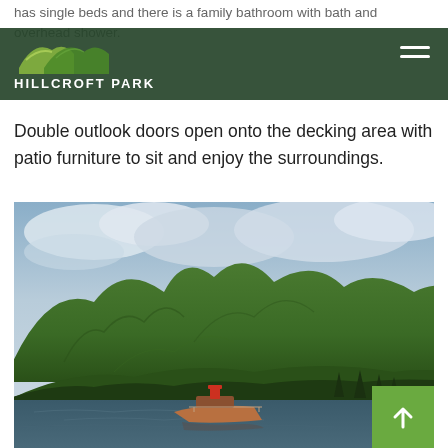has single beds and there is a family bathroom with bath and overhead shower.
Double outlook doors open onto the decking area with patio furniture to sit and enjoy the surroundings.
[Figure (photo): Scenic landscape photograph showing a large green mountain with cloudy sky, a loch/lake in the foreground with a small vintage steamboat visible on the water, surrounded by trees.]